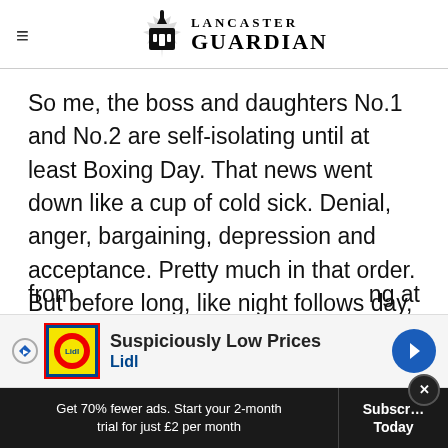Lancaster Guardian
So me, the boss and daughters No.1 and No.2 are self-isolating until at least Boxing Day. That news went down like a cup of cold sick. Denial, anger, bargaining, depression and acceptance. Pretty much in that order. But before long, like night follows day, others in the house started with weird and wonderful symptoms ranging from...ing at all to...te
[Figure (other): Lidl advertisement banner: 'Suspiciously Low Prices' with Lidl logo and blue navigation arrow]
Get 70% fewer ads. Start your 2-month trial for just £2 per month
Subscribe Today